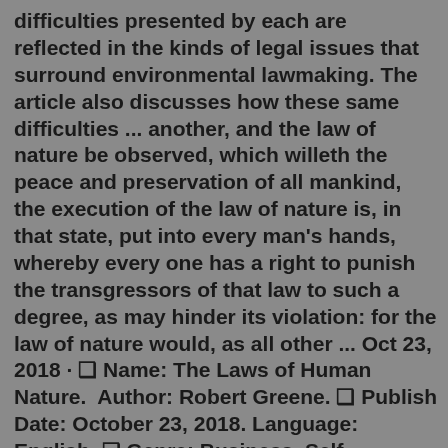difficulties presented by each are reflected in the kinds of legal issues that surround environmental lawmaking. The article also discusses how these same difficulties ... another, and the law of nature be observed, which willeth the peace and preservation of all mankind, the execution of the law of nature is, in that state, put into every man's hands, whereby every one has a right to punish the transgressors of that law to such a degree, as may hinder its violation: for the law of nature would, as all other ... Oct 23, 2018 · ❑ Name: The Laws of Human Nature.  Author: Robert Greene. ❑ Publish Date: October 23, 2018. Language: English. ❑ Genre: Business, Self-Development. ❑ Format: PDF. ❑ Size: 3.77 MB. ❑ Pages: 624. ❑ Price: Free Mar 04, 2002 · INTRODUCTION. Nothing is more usual and more natural for those, who pretend to discover anything new to the world in philosophy and the sciences, than to insinuate the praises of their own systems, by decrying all those, which have been advanced before them. And indeed were they content